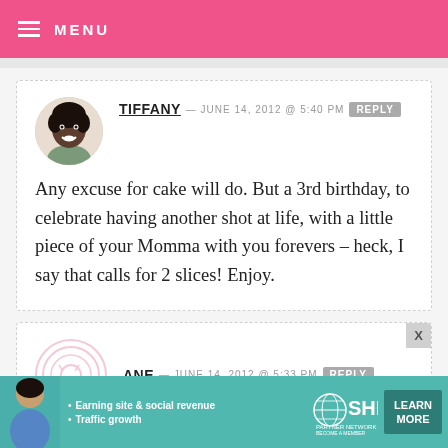MENU
TIFFANY — JUNE 14, 2012 @ 5:40 PM REPLY
Any excuse for cake will do. But a 3rd birthday, to celebrate having another shot at life, with a little piece of your Momma with you forevers – heck, I say that calls for 2 slices! Enjoy.
ANE — JUNE 14, 2012 @ 5:33 PM REPLY
[Figure (infographic): SHE Partner Network ad banner: Earning site & social revenue, Traffic growth, LEARN MORE button]